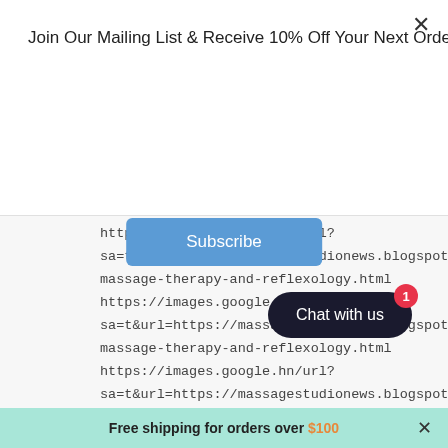Join Our Mailing List & Receive 10% Off Your Next Order
Subscribe
https://images.google.ht/url?sa=t&url=https://massagestudionews.blogspot.com/2massage-therapy-and-reflexology.html https://images.google.hr/url?sa=t&url=https://massagestudionews.blogspot.com/2massage-therapy-and-reflexology.html https://images.google.hn/url?sa=t&url=https://massagestudionews.blogspot.com/2massage-therapy-and-reflexology.html https://images.google.gr/url?sa=t&url=https://massagestudionews.blogspot.com/2massage-therapy-and-reflexology https://images.google.gp/url?sa=t&url=https://massagestudio.com/2
Chat with us
Free shipping for orders over $100